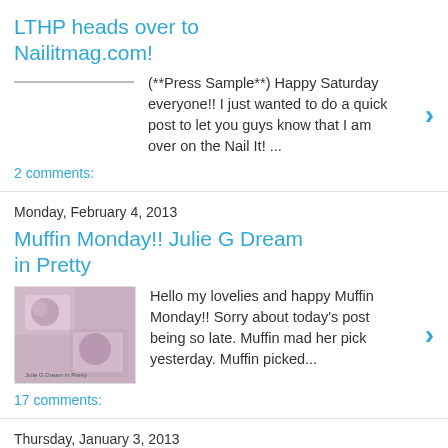LTHP heads over to Nailitmag.com!
(**Press Sample**) Happy Saturday everyone!! I just wanted to do a quick post to let you guys know that I am over on the Nail It! ...
2 comments:
Monday, February 4, 2013
Muffin Monday!! Julie G Dream in Pretty
Hello my lovelies and happy Muffin Monday!! Sorry about today's post being so late. Muffin mad her pick yesterday. Muffin picked...
17 comments:
Thursday, January 3, 2013
Random Thursday Spam!
Good afternoon!!  So todayI have some random